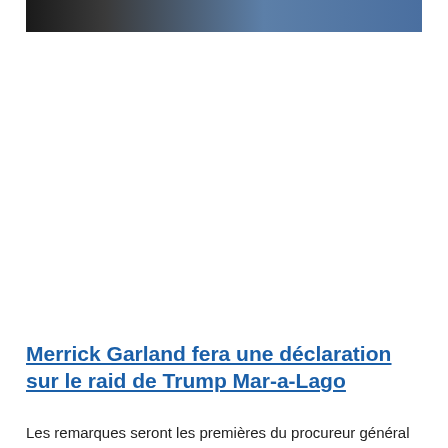[Figure (photo): Partial photo showing two men in dark suits, one with a red tie and one in a blue suit jacket, cropped at the top of the page]
Merrick Garland fera une déclaration sur le raid de Trump Mar-a-Lago
Les remarques seront les premières du procureur général